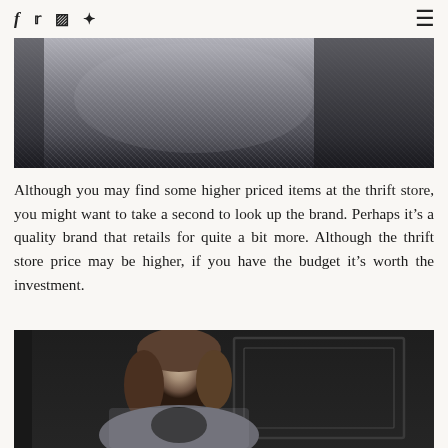f  t  [instagram]  [pinterest]  [menu]
[Figure (photo): Close-up photo of a person wearing a grey knit sweater and black clothing, cropped at torso level.]
Although you may find some higher priced items at the thrift store, you might want to take a second to look up the brand. Perhaps it's a quality brand that retails for quite a bit more. Although the thrift store price may be higher, if you have the budget it's worth the investment.
[Figure (photo): Photo of a woman with medium-length brown hair wearing a grey knit blazer and black turtleneck, standing in front of a dark door.]